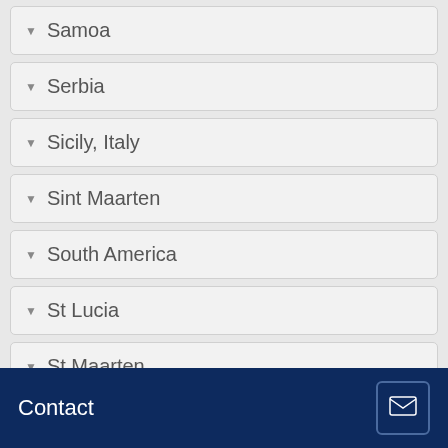Samoa
Serbia
Sicily, Italy
Sint Maarten
South America
St Lucia
St Maarten
St Thomas
Sudan
Svalbard And Jan Mayen Islands
Contact